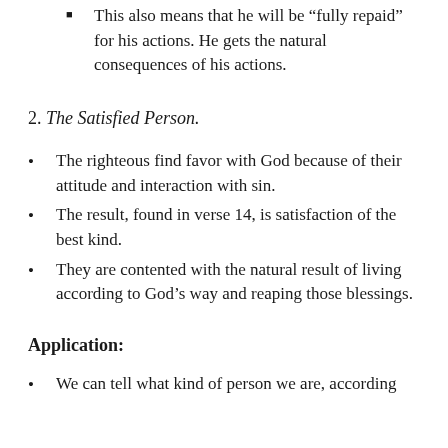This also means that he will be “fully repaid” for his actions. He gets the natural consequences of his actions.
2. The Satisfied Person.
The righteous find favor with God because of their attitude and interaction with sin.
The result, found in verse 14, is satisfaction of the best kind.
They are contented with the natural result of living according to God’s way and reaping those blessings.
Application:
We can tell what kind of person we are, according